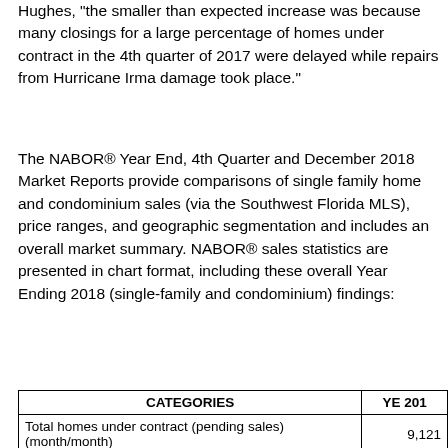Hughes, "the smaller than expected increase was because many closings for a large percentage of homes under contract in the 4th quarter of 2017 were delayed while repairs from Hurricane Irma damage took place."
The NABOR® Year End, 4th Quarter and December 2018 Market Reports provide comparisons of single family home and condominium sales (via the Southwest Florida MLS), price ranges, and geographic segmentation and includes an overall market summary. NABOR® sales statistics are presented in chart format, including these overall Year Ending 2018 (single-family and condominium) findings:
| CATEGORIES | YE 201... |
| --- | --- |
| Total homes under contract (pending sales) (month/month) | 9,121 |